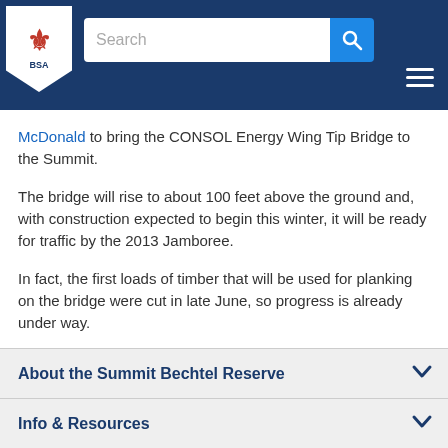Boy Scouts of America website header with search bar and navigation
McDonald to bring the CONSOL Energy Wing Tip Bridge to the Summit.
The bridge will rise to about 100 feet above the ground and, with construction expected to begin this winter, it will be ready for traffic by the 2013 Jamboree.
In fact, the first loads of timber that will be used for planking on the bridge were cut in late June, so progress is already under way.
About the Summit Bechtel Reserve
Info & Resources